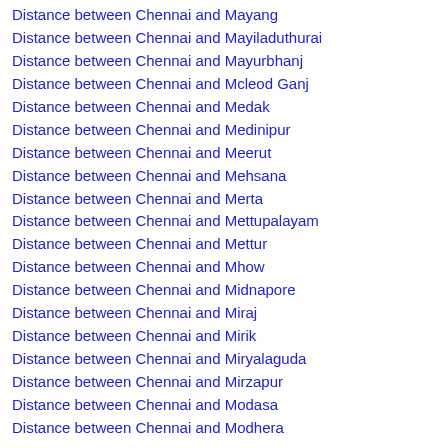Distance between Chennai and Mayang
Distance between Chennai and Mayiladuthurai
Distance between Chennai and Mayurbhanj
Distance between Chennai and Mcleod Ganj
Distance between Chennai and Medak
Distance between Chennai and Medinipur
Distance between Chennai and Meerut
Distance between Chennai and Mehsana
Distance between Chennai and Merta
Distance between Chennai and Mettupalayam
Distance between Chennai and Mettur
Distance between Chennai and Mhow
Distance between Chennai and Midnapore
Distance between Chennai and Miraj
Distance between Chennai and Mirik
Distance between Chennai and Miryalaguda
Distance between Chennai and Mirzapur
Distance between Chennai and Modasa
Distance between Chennai and Modhera